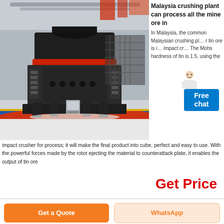[Figure (photo): Large industrial crushing machine (VSI sand making machine) on display in a factory/exhibition hall. The machine is dark grey/black with a red ring accent, mounted on a large base with red and blue painted platform borders.]
Malaysia crushing plant can process all the mine ore in
In Malaysia, the common Malaysian crushing plant for tin ore is impact crusher. The Mohs hardness of tin is 1.5, using the impact crusher for process; it will make the final product into cube, perfect and easy to use. With the powerful forces made by the rotor ejecting the material to counterattack plate, it enables the output of tin ore
Get Price
Get a Quote
WhatsApp